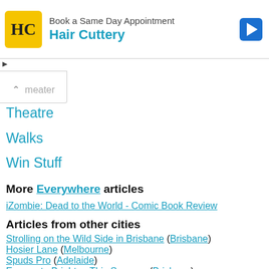[Figure (other): Hair Cuttery advertisement banner with yellow HC logo, 'Book a Same Day Appointment' title, 'Hair Cuttery' brand name in blue, and a blue navigation arrow icon on the right]
Theatre
Walks
Win Stuff
More Everywhere articles
iZombie: Dead to the World - Comic Book Review
Articles from other cities
Strolling on the Wild Side in Brisbane (Brisbane)
Hosier Lane (Melbourne)
Spuds Pro (Adelaide)
Escape to Brighton This Summer (Brisbane)
Historical Ghost Tour of Toowong Cemetery (Brisbane)
Dicki's - Plant-based Dining (Brisbane)